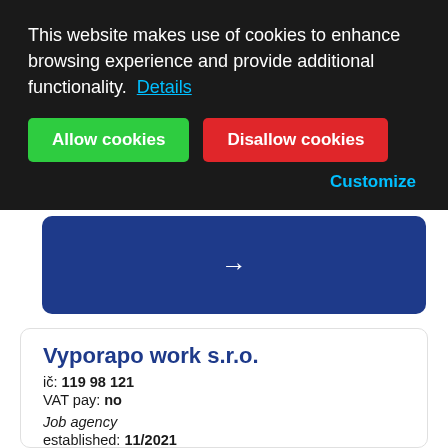This website makes use of cookies to enhance browsing experience and provide additional functionality. Details
[Figure (screenshot): Cookie consent banner with Allow cookies (green button) and Disallow cookies (red button) and Customize link]
[Figure (other): Dark blue rounded rectangle card with a right arrow in white]
Vyporapo work s.r.o.
ič: 119 98 121
VAT pay: no
Job agency
established: 11/2021
state: Reserved
Na bojišti 1470/24, 120 00 Praha 2 – Nové